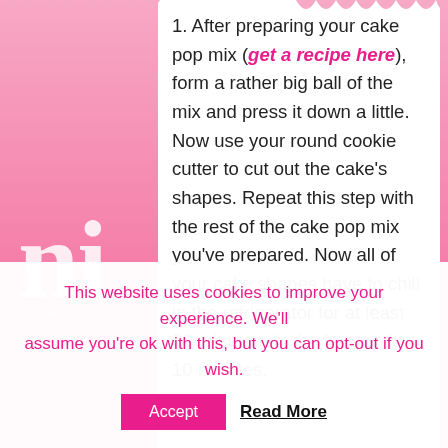1. After preparing your cake pop mix (get a recipe here), form a rather big ball of the mix and press it down a little. Now use your round cookie cutter to cut out the cake's shapes. Repeat this step with the rest of the cake pop mix you've prepared. Now all of your cake shapes have to chill in the refrigerator for at least 20 minutes, in the freezer for 10 minutes.
[Figure (photo): Photo of a white round fluted cookie cutter and dark chocolate cake pop pieces on a white surface]
This website uses cookies to improve your experience. We'll assume you're ok with this, but you can opt-out if you wish.